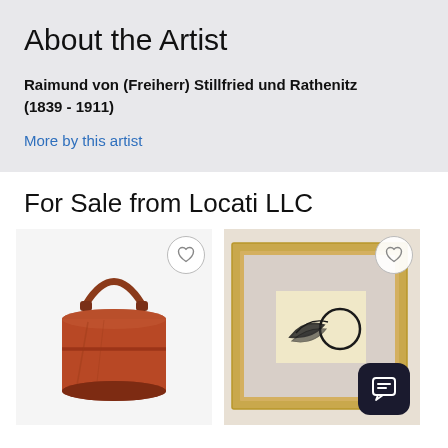About the Artist
Raimund von (Freiherr) Stillfried und Rathenitz (1839 - 1911)
More by this artist
For Sale from Locati LLC
[Figure (photo): Cylindrical leather-wrapped drum or bucket with a handle, reddish-brown color, on white background]
[Figure (photo): Framed artwork in gold/gilt frame showing an illustration on cream/beige mat background, with a dark drawing of a bird or figure with circular element]